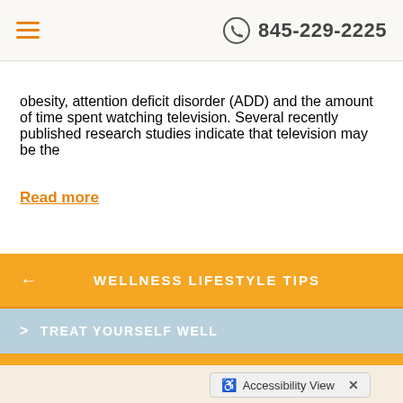845-229-2225
obesity, attention deficit disorder (ADD) and the amount of time spent watching television. Several recently published research studies indicate that television may be the
Read more
WELLNESS LIFESTYLE TIPS
TREAT YOURSELF WELL
TREAT OTHERS WELL
EAT WELL
Accessibility View